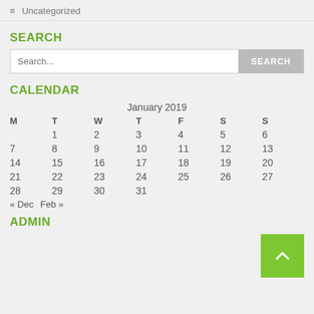≡ Uncategorized
SEARCH
Search... SEARCH
CALENDAR
| M | T | W | T | F | S | S |
| --- | --- | --- | --- | --- | --- | --- |
|  | 1 | 2 | 3 | 4 | 5 | 6 |
| 7 | 8 | 9 | 10 | 11 | 12 | 13 |
| 14 | 15 | 16 | 17 | 18 | 19 | 20 |
| 21 | 22 | 23 | 24 | 25 | 26 | 27 |
| 28 | 29 | 30 | 31 |  |  |  |
« Dec  Feb »
ADMIN